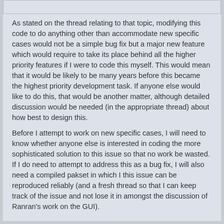As stated on the thread relating to that topic, modifying this code to do anything other than accommodate new specific cases would not be a simple bug fix but a major new feature which would require to take its place behind all the higher priority features if I were to code this myself. This would mean that it would be likely to be many years before this became the highest priority development task. If anyone else would like to do this, that would be another matter, although detailed discussion would be needed (in the appropriate thread) about how best to design this.
Before I attempt to work on new specific cases, I will need to know whether anyone else is interested in coding the more sophisticated solution to this issue so that no work be wasted. If I do need to attempt to address this as a bug fix, I will also need a compiled pakset in which I this issue can be reproduced reliably (and a fresh thread so that I can keep track of the issue and not lose it in amongst the discussion of Ranran's work on the GUI).
Quote from: Ranran on April 16, 2019, 04:23:15 PM